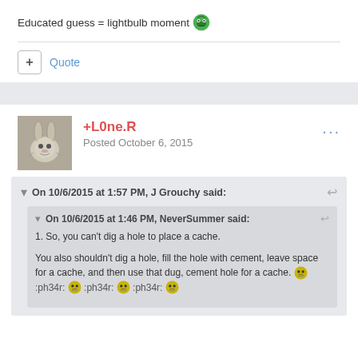Educated guess = lightbulb moment 🐸
+ Quote
+L0ne.R
Posted October 6, 2015
On 10/6/2015 at 1:57 PM, J Grouchy said:
On 10/6/2015 at 1:46 PM, NeverSummer said:
1. So, you can't dig a hole to place a cache.

You also shouldn't dig a hole, fill the hole with cement, leave space for a cache, and then use that dug, cement hole for a cache. 😐 :ph34r: 😐 :ph34r: 😐 :ph34r: 😐